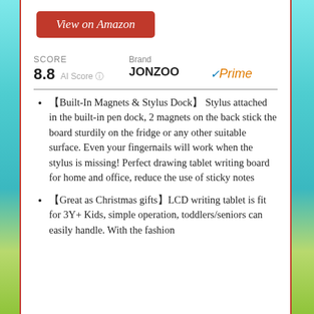View on Amazon
SCORE
8.8 AI Score
Brand JONZOO Prime
🔲Built-In Magnets & Stylus Dock🔲 Stylus attached in the built-in pen dock, 2 magnets on the back stick the board sturdily on the fridge or any other suitable surface. Even your fingernails will work when the stylus is missing! Perfect drawing tablet writing board for home and office, reduce the use of sticky notes
🔲Great as Christmas gifts🔲LCD writing tablet is fit for 3Y+ Kids, simple operation, toddlers/seniors can easily handle. With the fashion